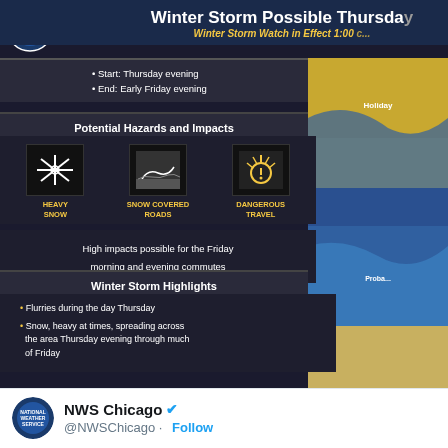[Figure (infographic): NWS Winter Storm infographic showing timing, potential hazards and impacts (heavy snow, snow covered roads, dangerous travel), and winter storm highlights with bullet points about flurries Thursday and snow Thursday evening through Friday]
NWS Chicago @NWSChicago · Follow
Flurries continue across portions of n... Reduced visibilities and a dusting of